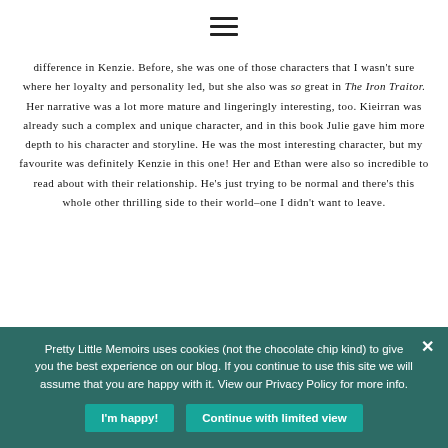[Figure (other): Hamburger menu icon — three horizontal lines]
difference in Kenzie. Before, she was one of those characters that I wasn't sure where her loyalty and personality led, but she also was so great in The Iron Traitor. Her narrative was a lot more mature and lingeringly interesting, too. Kieirran was already such a complex and unique character, and in this book Julie gave him more depth to his character and storyline. He was the most interesting character, but my favourite was definitely Kenzie in this one! Her and Ethan were also so incredible to read about with their relationship. He's just trying to be normal and there's this whole other thrilling side to their world–one I didn't want to leave.
Pretty Little Memoirs uses cookies (not the chocolate chip kind) to give you the best experience on our blog. If you continue to use this site we will assume that you are happy with it. View our Privacy Policy for more info.
I'm happy!
Continue with limited view